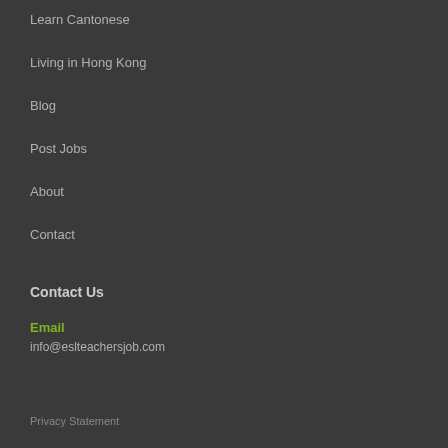Learn Cantonese
Living in Hong Kong
Blog
Post Jobs
About
Contact
Contact Us
Email
info@eslteachersjob.com
Privacy Statement